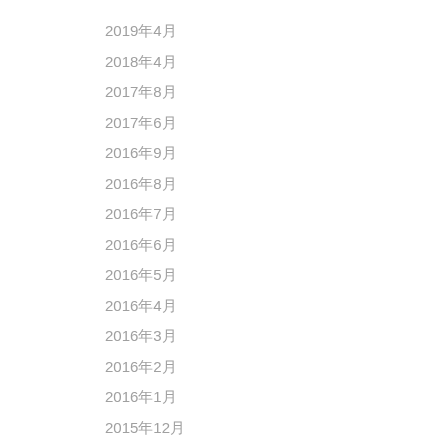2019年4月
2018年4月
2017年8月
2017年6月
2016年9月
2016年8月
2016年7月
2016年6月
2016年5月
2016年4月
2016年3月
2016年2月
2016年1月
2015年12月
2015年11月